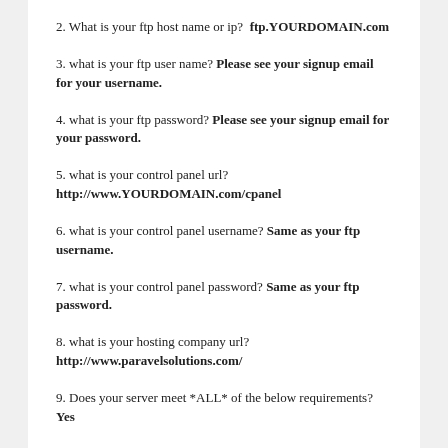2. What is your ftp host name or ip?  ftp.YOURDOMAIN.com
3. what is your ftp user name? Please see your signup email for your username.
4. what is your ftp password? Please see your signup email for your password.
5. what is your control panel url? http://www.YOURDOMAIN.com/cpanel
6. what is your control panel username? Same as your ftp username.
7. what is your control panel password? Same as your ftp password.
8. what is your hosting company url? http://www.paravelsolutions.com/
9. Does your server meet *ALL* of the below requirements? Yes
10. Does your server have *all php settings* already set? Yes, all necessary settings can be set editing the local php.ini file if changes are needed.